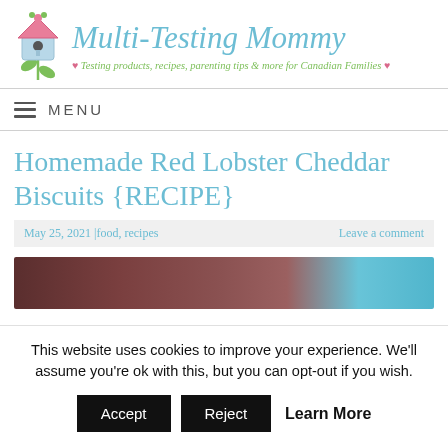Multi-Testing Mommy — Testing products, recipes, parenting tips & more for Canadian Families
MENU
Homemade Red Lobster Cheddar Biscuits {RECIPE}
May 25, 2021 |food, recipes   Leave a comment
[Figure (photo): Partial photo of biscuits or food related to the recipe]
This website uses cookies to improve your experience. We'll assume you're ok with this, but you can opt-out if you wish.